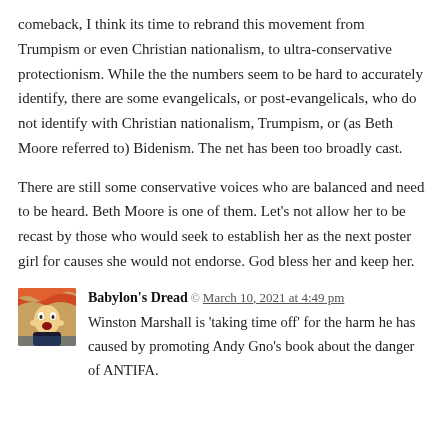comeback, I think its time to rebrand this movement from Trumpism or even Christian nationalism, to ultra-conservative protectionism. While the the numbers seem to be hard to accurately identify, there are some evangelicals, or post-evangelicals, who do not identify with Christian nationalism, Trumpism, or (as Beth Moore referred to) Bidenism. The net has been too broadly cast.
There are still some conservative voices who are balanced and need to be heard. Beth Moore is one of them. Let's not allow her to be recast by those who would seek to establish her as the next poster girl for causes she would not endorse. God bless her and keep her.
Babylon's Dread  March 10, 2021 at 4:49 pm
Winston Marshall is 'taking time off' for the harm he has caused by promoting Andy Gno's book about the danger of ANTIFA.